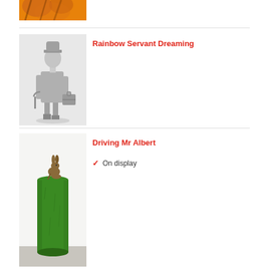[Figure (photo): Partial view of an artwork thumbnail at top — appears to show an animal (tiger/rabbit) with orange background, cropped]
Rainbow Servant Dreaming
[Figure (photo): Grey sculpture of a standing man wearing a bowler hat, long coat, holding an umbrella and a suitcase, against a white background]
Driving Mr Albert
[Figure (photo): Sculpture of a small animal (rabbit/hare) perched on top of a tall green cylindrical pedestal, against a white wall]
On display